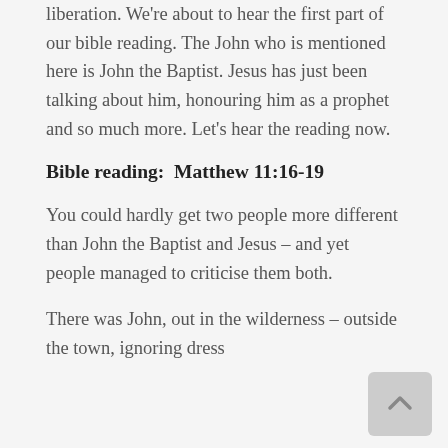liberation. We're about to hear the first part of our bible reading. The John who is mentioned here is John the Baptist. Jesus has just been talking about him, honouring him as a prophet and so much more. Let's hear the reading now.
Bible reading:  Matthew 11:16-19
You could hardly get two people more different than John the Baptist and Jesus – and yet people managed to criticise them both.
There was John, out in the wilderness – outside the town, ignoring dress